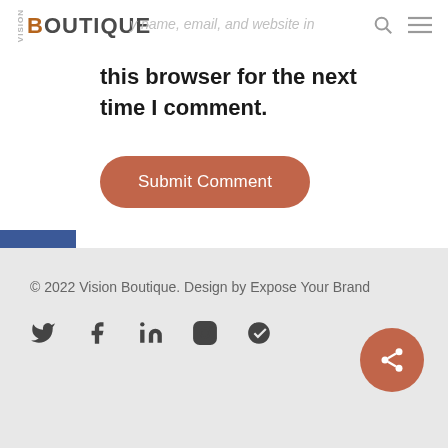Vision Boutique
y name, email, and website in this browser for the next time I comment.
[Figure (other): Submit Comment button - rounded rectangle orange/terracotta button with white text]
[Figure (other): Side social share bar with Facebook (blue), Twitter (light blue), LinkedIn (dark blue), Email (green) buttons]
© 2022 Vision Boutique. Design by Expose Your Brand
[Figure (other): Social media icons row: Twitter, Facebook, LinkedIn, Instagram, Yelp]
[Figure (other): Orange circular share button with share/network icon]